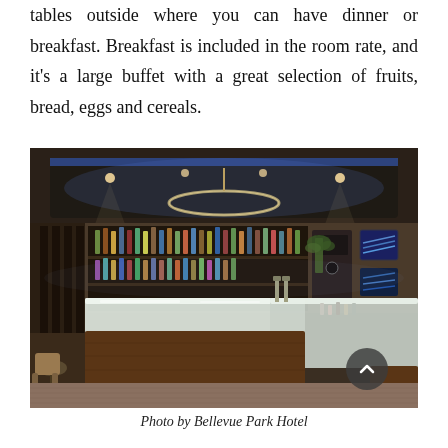tables outside where you can have dinner or breakfast. Breakfast is included in the room rate, and it's a large buffet with a great selection of fruits, bread, eggs and cereals.
[Figure (photo): Interior photo of a modern hotel bar with a large illuminated bar counter, bottles of liquor on shelves behind the bar, blue LED ceiling lighting, and lounge seating areas on the sides. A scroll-up button is visible in the bottom right corner.]
Photo by Bellevue Park Hotel